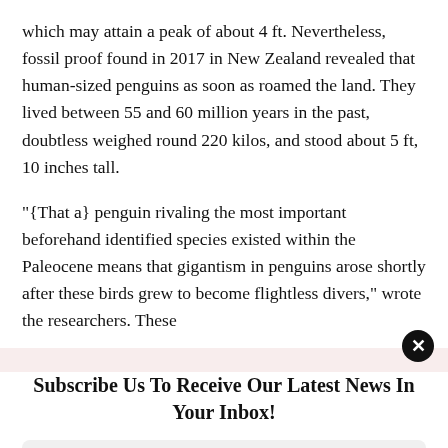which may attain a peak of about 4 ft. Nevertheless, fossil proof found in 2017 in New Zealand revealed that human-sized penguins as soon as roamed the land. They lived between 55 and 60 million years in the past, doubtless weighed round 220 kilos, and stood about 5 ft, 10 inches tall.
"{That a} penguin rivaling the most important beforehand identified species existed within the Paleocene means that gigantism in penguins arose shortly after these birds grew to become flightless divers," wrote the researchers. These
Subscribe Us To Receive Our Latest News In Your Inbox!